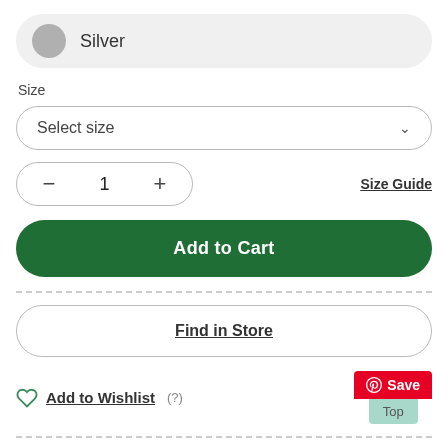Silver
Size
Select size
1
Size Guide
Add to Cart
Find in Store
Add to Wishlist (?)
Save
Top